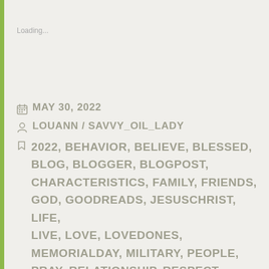Loading...
MAY 30, 2022
LOUANN / SAVVY_OIL_LADY
2022, BEHAVIOR, BELIEVE, BLESSED, BLOG, BLOGGER, BLOGPOST, CHARACTERISTICS, FAMILY, FRIENDS, GOD, GOODREADS, JESUSCHRIST, LIFE, LIVE, LOVE, LOVEDONES, MEMORIALDAY, MILITARY, PEOPLE, PRAY, RELATIONSHIP, RESPECT